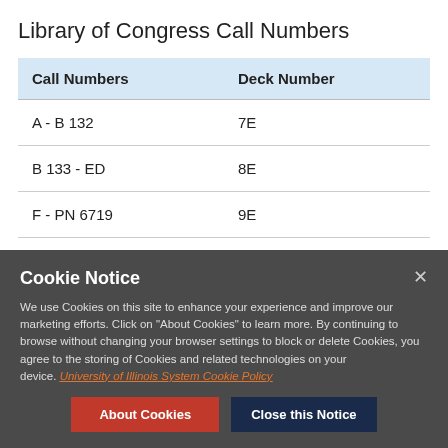Library of Congress Call Numbers
| Call Numbers | Deck Number |
| --- | --- |
| A - B 132 | 7E |
| B 133 - ED | 8E |
| F - PN 6719 | 9E |
Cookie Notice
We use Cookies on this site to enhance your experience and improve our marketing efforts. Click on "About Cookies" to learn more. By continuing to browse without changing your browser settings to block or delete Cookies, you agree to the storing of Cookies and related technologies on your device. University of Illinois System Cookie Policy
About Cookies
Close this Notice